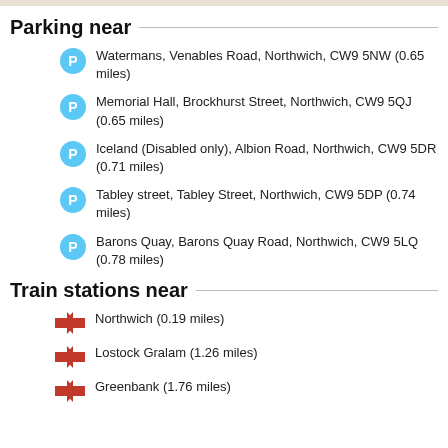Parking near
Watermans, Venables Road, Northwich, CW9 5NW (0.65 miles)
Memorial Hall, Brockhurst Street, Northwich, CW9 5QJ (0.65 miles)
Iceland (Disabled only), Albion Road, Northwich, CW9 5DR (0.71 miles)
Tabley street, Tabley Street, Northwich, CW9 5DP (0.74 miles)
Barons Quay, Barons Quay Road, Northwich, CW9 5LQ (0.78 miles)
Train stations near
Northwich (0.19 miles)
Lostock Gralam (1.26 miles)
Greenbank (1.76 miles)